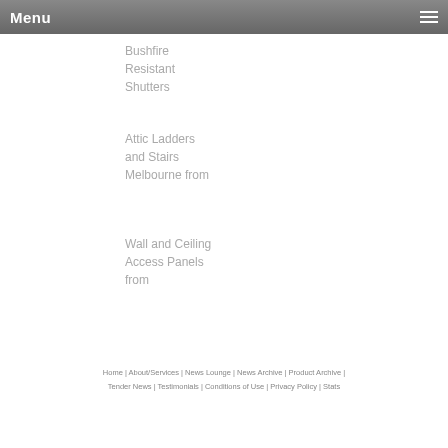Menu
Bushfire Resistant Shutters
Attic Ladders and Stairs Melbourne from
Wall and Ceiling Access Panels from
Home | About/Services | News Lounge | News Archive | Product Archive | Tender News | Testimonials | Conditions of Use | Privacy Policy | Stats